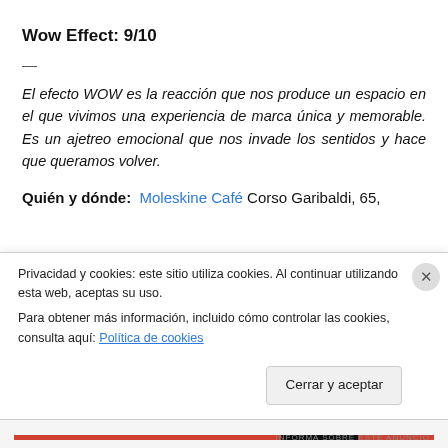Wow Effect: 9/10
—
El efecto WOW es la reacción que nos produce un espacio en el que vivimos una experiencia de marca única y memorable. Es un ajetreo emocional que nos invade los sentidos y hace que queramos volver.
Quién y dónde: Moleskine Café Corso Garibaldi, 65,
Privacidad y cookies: este sitio utiliza cookies. Al continuar utilizando esta web, aceptas su uso.
Para obtener más información, incluido cómo controlar las cookies, consulta aquí: Política de cookies
Cerrar y aceptar